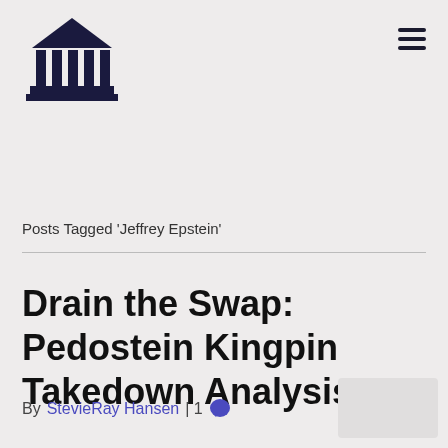[Figure (logo): Bank or institution building/pillar icon in dark navy color]
Posts Tagged 'Jeffrey Epstein'
Drain the Swap: Pedostein Kingpin Takedown Analysis
By StevieRay Hansen | 1 comment